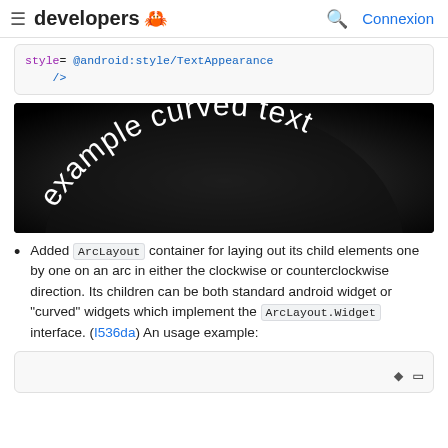≡ developers 🤖  🔍 Connexion
style= @android:style/TextAppearance
    />
[Figure (photo): Black background image showing the text 'example curved text' rendered in a curved arc style in white letters]
Added ArcLayout container for laying out its child elements one by one on an arc in either the clockwise or counterclockwise direction. Its children can be both standard android widget or "curved" widgets which implement the ArcLayout.Widget interface. (I536da) An usage example:
[code block bottom with copy/settings icons]